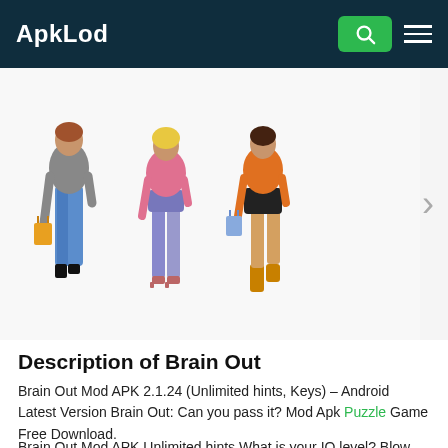ApkLod
[Figure (illustration): Three women walking from behind, each carrying shopping bags. Left figure wears jeans and a grey top, center figure wears purple shorts and a pink top, right figure wears a black skirt and orange top with boots.]
Description of Brain Out
Brain Out Mod APK 2.1.24 (Unlimited hints, Keys) – Android Latest Version Brain Out: Can you pass it? Mod Apk Puzzle Game Free Download.
Brain Out Mod APK Unlimited hints What is your IQ level? Blow your mind with Brain Out and show your friends that you are not completely stupid! Something which is often overlooked in the schooling system and thus not often nourished into adolescence.